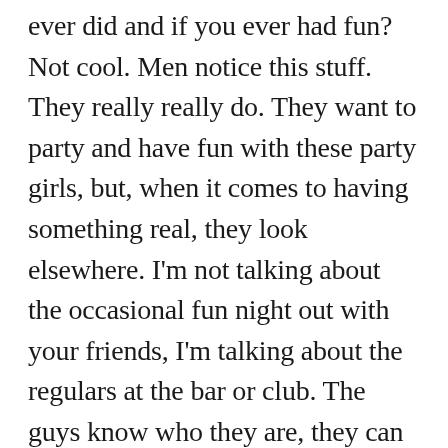ever did and if you ever had fun?  Not cool.  Men notice this stuff.  They really really do.  They want to party and have fun with these party girls, but, when it comes to having something real, they look elsewhere.  I'm not talking about the occasional fun night out with your friends, I'm talking about the regulars at the bar or club.  The guys know who they are, they can tell who's a party girl and who isn't.  How? Well, the party girls looks like she's at home drinking and having fun, she's dressed like a street walker and she doesn't have any class.  Sorry ladies, you can't fake class.  Men want someone they can be proud to walk hand in hand with in public.  They'll have a good time with the good time girl, maybe